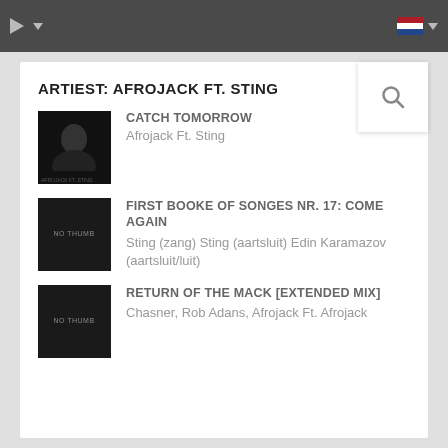▶ ▾  [NL flag] ▾
ARTIEST: AFROJACK FT. STING
CATCH TOMORROW
Afrojack Ft. Sting
FIRST BOOKE OF SONGES NR. 17: COME AGAIN
Sting (zang) Sting (aartsluit) Edin Karamazov (aartsluit/luit)
RETURN OF THE MACK [EXTENDED MIX]
Chasner, Rob Adans, Afrojack Ft. Afrojack